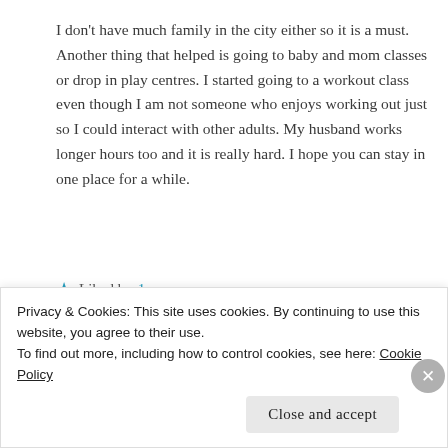I don't have much family in the city either so it is a must. Another thing that helped is going to baby and mom classes or drop in play centres. I started going to a workout class even though I am not someone who enjoys working out just so I could interact with other adults. My husband works longer hours too and it is really hard. I hope you can stay in one place for a while.
★ Liked by 1 person
Reply
Privacy & Cookies: This site uses cookies. By continuing to use this website, you agree to their use. To find out more, including how to control cookies, see here: Cookie Policy
Close and accept